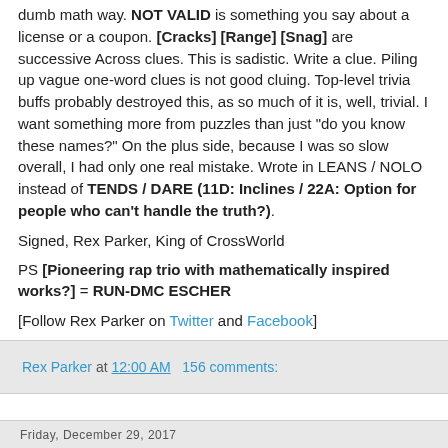dumb math way. NOT VALID is something you say about a license or a coupon. [Cracks] [Range] [Snag] are successive Across clues. This is sadistic. Write a clue. Piling up vague one-word clues is not good cluing. Top-level trivia buffs probably destroyed this, as so much of it is, well, trivial. I want something more from puzzles than just "do you know these names?" On the plus side, because I was so slow overall, I had only one real mistake. Wrote in LEANS / NOLO instead of TENDS / DARE (11D: Inclines / 22A: Option for people who can't handle the truth?).
Signed, Rex Parker, King of CrossWorld
PS [Pioneering rap trio with mathematically inspired works?] = RUN-DMC ESCHER
[Follow Rex Parker on Twitter and Facebook]
Rex Parker at 12:00 AM   156 comments:
Friday, December 29, 2017